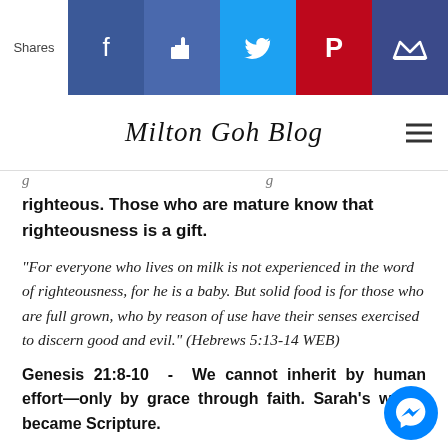[Figure (infographic): Social media share bar with Facebook, Like, Twitter, Pinterest, and Crown icons on colored backgrounds]
Milton Goh Blog
righteous. Those who are mature know that righteousness is a gift.
“For everyone who lives on milk is not experienced in the word of righteousness, for he is a baby. But solid food is for those who are full grown, who by reason of use have their senses exercised to discern good and evil.” (Hebrews 5:13-14 WEB)
Genesis 21:8-10 - We cannot inherit by human effort—only by grace through faith. Sarah’s words became Scripture.
“The child grew, and was weaned. Abraham made a great feast on the day that Isaac was weaned. Sarah saw the son of Hagar